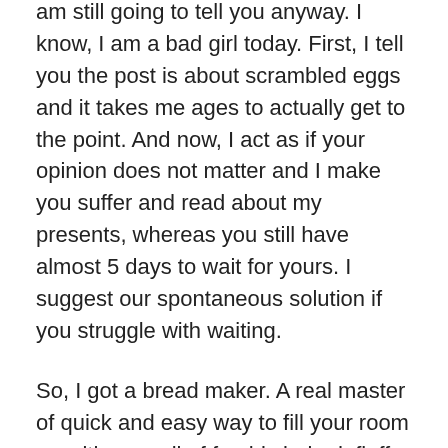am still going to tell you anyway. I know, I am a bad girl today. First, I tell you the post is about scrambled eggs and it takes me ages to actually get to the point. And now, I act as if your opinion does not matter and I make you suffer and read about my presents, whereas you still have almost 5 days to wait for yours. I suggest our spontaneous solution if you struggle with waiting.
So, I got a bread maker. A real master of quick and easy way to fill your room up with a smell of freshly baked, fluffy and tasty bread. A smell of HOME.
We are currently at a stage of testing the little fellow, but don't you worry our Bellies, we will be sure to share a full report once we have mastered (or not)